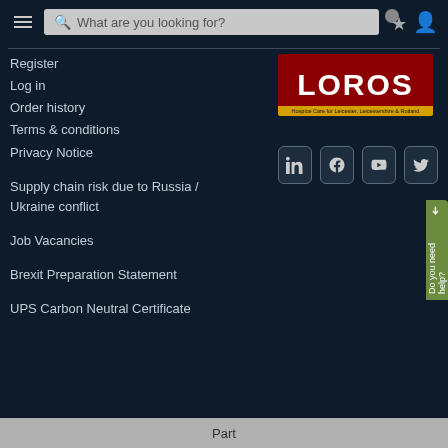What are you looking for?
Register
Log in
Order history
Terms & conditions
Privacy Notice
Supply chain risk due to Russia / Ukraine conflict
Job Vacancies
Brexit Preparation Statement
UPS Carbon Neutral Certificate
[Figure (logo): LOROS Hospice Care for Leicester, Leicestershire & Rutland logo - red background with LOROS in white bold text and yellow banner below]
[Figure (infographic): Social media icons: LinkedIn, Facebook, YouTube, Twitter]
Part